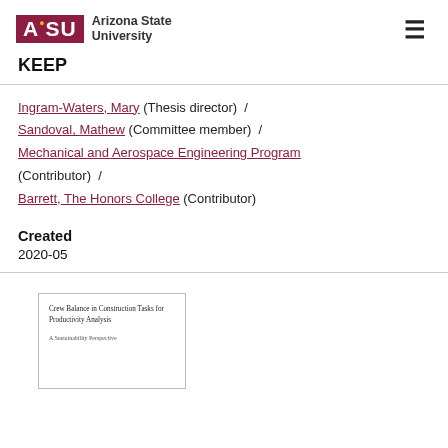Arizona State University — KEEP
Ingram-Waters, Mary (Thesis director) / Sandoval, Mathew (Committee member) / Mechanical and Aerospace Engineering Program (Contributor) / Barrett, The Honors College (Contributor)
Created
2020-05
[Figure (other): Thumbnail of a document titled 'Crew Balance in Construction Tasks for Productivity Analysis — A Sustainability Perspective']